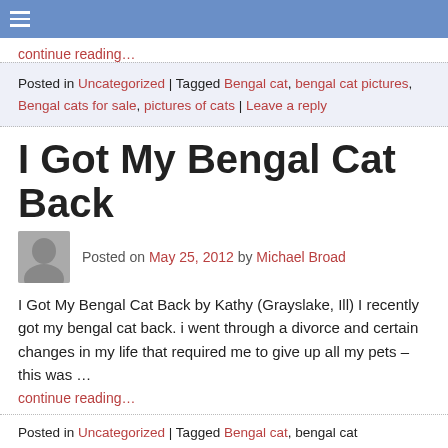≡
continue reading…
Posted in Uncategorized | Tagged Bengal cat, bengal cat pictures, Bengal cats for sale, pictures of cats | Leave a reply
I Got My Bengal Cat Back
Posted on May 25, 2012 by Michael Broad
I Got My Bengal Cat Back by Kathy (Grayslake, Ill) I recently got my bengal cat back. i went through a divorce and certain changes in my life that required me to give up all my pets – this was …
continue reading…
Posted in Uncategorized | Tagged Bengal cat, bengal cat